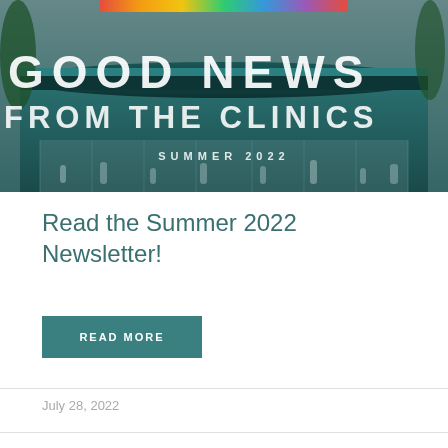[Figure (photo): Hero banner image showing a clinic building with teal/green color scheme, large bold white text reading 'GOOD NEWS FROM THE CLINICS SUMMER 2022', colorful banner at top, trees and silhouettes of people visible]
Read the Summer 2022 Newsletter!
READ MORE
July 28, 2022